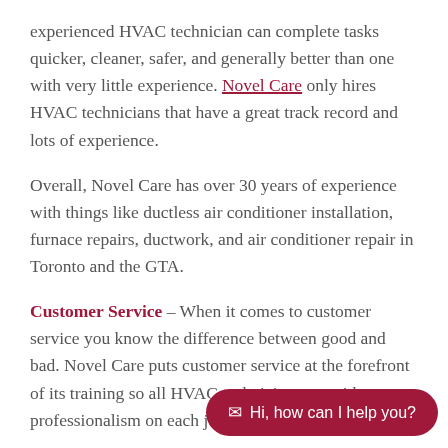experienced HVAC technician can complete tasks quicker, cleaner, safer, and generally better than one with very little experience. Novel Care only hires HVAC technicians that have a great track record and lots of experience.
Overall, Novel Care has over 30 years of experience with things like ductless air conditioner installation, furnace repairs, ductwork, and air conditioner repair in Toronto and the GTA.
Customer Service – When it comes to customer service you know the difference between good and bad. Novel Care puts customer service at the forefront of its training so all HVAC technicians act with cour… professionalism on each job.